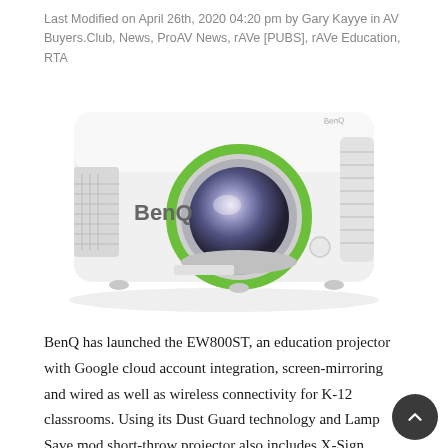Last Modified on April 26th, 2020 04:20 pm by Gary Kayye in AV Buyers.Club, News, ProAV News, rAVe [PUBS], rAVe Education, RTA
[Figure (photo): BenQ EW800ST short-throw projector, white casing with large lens featuring green and grey surround, BenQ logo on front, vents on left side]
BenQ has launched the EW800ST, an education projector with Google cloud account integration, screen-mirroring and wired as well as wireless connectivity for K-12 classrooms. Using its Dust Guard technology and Lamp Save mod short-throw projector also includes X-Sign Broadcast, a